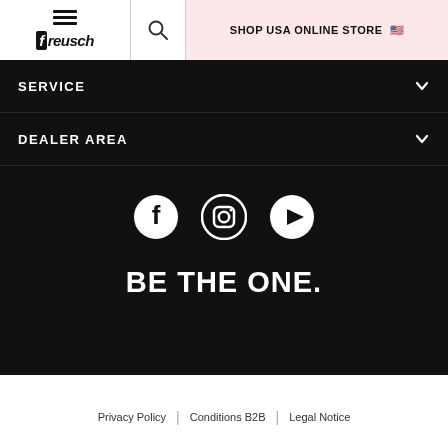[Figure (logo): Reusch brand logo with hamburger menu icon and stylized italic reusch text]
[Figure (illustration): Search magnifying glass icon]
SHOP USA ONLINE STORE 🇺🇸
SERVICE
DEALER AREA
[Figure (illustration): Social media icons: Facebook, Instagram, YouTube]
BE THE ONE.
Privacy Policy | Conditions B2B | Legal Notice